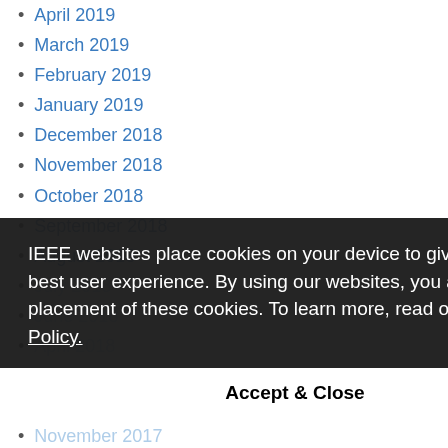April 2019
March 2019
February 2019
January 2019
December 2018
November 2018
October 2018
September 2018
August 2018
July 2018
June 2018
April 2018
March 2018
February 2018
November 2017
October 2017
September 2017
August 2017
July 2017
June 2017
IEEE websites place cookies on your device to give you the best user experience. By using our websites, you agree to the placement of these cookies. To learn more, read our Privacy Policy.
Accept & Close